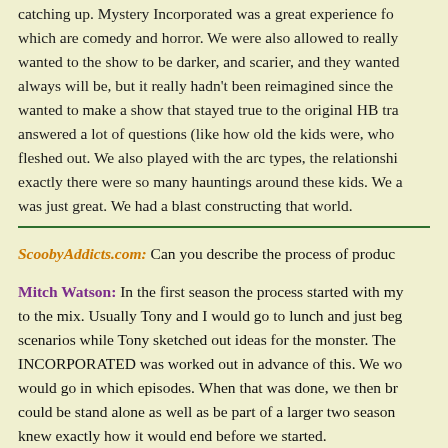catching up. Mystery Incorporated was a great experience for which are comedy and horror. We were also allowed to really wanted to the show to be darker, and scarier, and they wanted always will be, but it really hadn't been reimagined since the wanted to make a show that stayed true to the original HB tra answered a lot of questions (like how old the kids were, who fleshed out. We also played with the arc types, the relationshi exactly there were so many hauntings around these kids. We a was just great. We had a blast constructing that world.
ScoobyAddicts.com: Can you describe the process of produc
Mitch Watson: In the first season the process started with my to the mix. Usually Tony and I would go to lunch and just beg scenarios while Tony sketched out ideas for the monster. The INCORPORATED was worked out in advance of this. We wo would go in which episodes. When that was done, we then br could be stand alone as well as be part of a larger two season knew exactly how it would end before we started.
After we break a story, we pitch the idea to the studio. If they on paper or a white board. If it is a freelance episode we get t season, and me and Mike the second season). We walk the wr ideas they have, and then they go off and write the outline wh